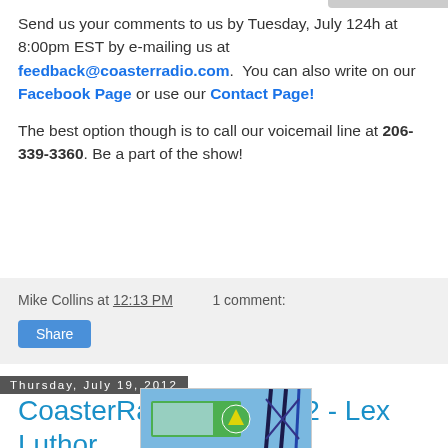Send us your comments to us by Tuesday, July 124h at 8:00pm EST by e-mailing us at feedback@coasterradio.com. You can also write on our Facebook Page or use our Contact Page!
The best option though is to call our voicemail line at 206-339-3360. Be a part of the show!
Mike Collins at 12:13 PM   1 comment:
Share
Thursday, July 19, 2012
CoasterRadio.com #642 - Lex Luthor "Drops" By
[Figure (photo): Photo of a roller coaster structure with a green gondola/car featuring the LexCorp logo (green circle with yellow L), against a blue sky with steel track supports]